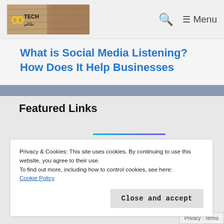TECH [logo] | Search | Menu
What is Social Media Listening? How Does It Help Businesses
Featured Links
Privacy & Cookies: This site uses cookies. By continuing to use this website, you agree to their use.
To find out more, including how to control cookies, see here: Cookie Policy
Close and accept
Privacy · Terms